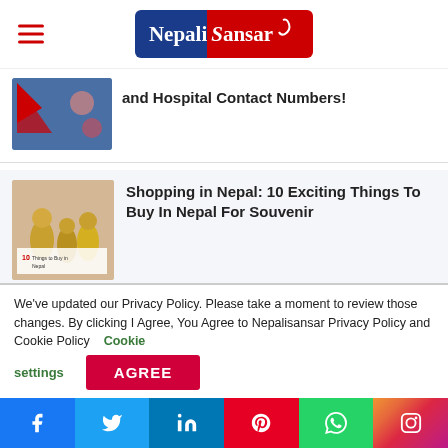NepaliSansar
[Figure (photo): Nepal flag and medical/hospital imagery thumbnail]
and Hospital Contact Numbers!
[Figure (photo): Shopping in Nepal - 10 things to buy thumbnail with golden statues]
Shopping in Nepal: 10 Exciting Things To Buy In Nepal For Souvenir
[Figure (photo): ICC Rankings 2021 - CAN and ICC logo thumbnail]
ICC Rankings 2021: Nepal Climbs
[Figure (photo): Building exterior partial thumbnail]
We've updated our Privacy Policy. Please take a moment to review those changes. By clicking I Agree, You Agree to Nepalisansar Privacy Policy and Cookie Policy   Cookie settings
f  t  in  Pinterest  WhatsApp  Instagram